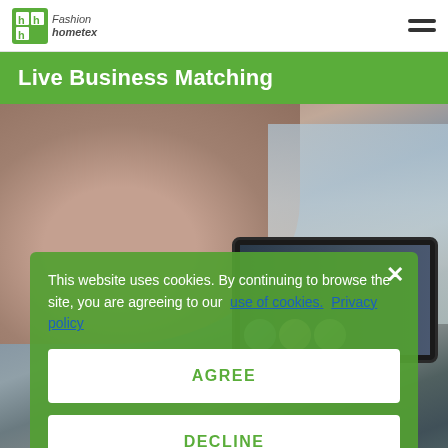Fashion Hometex
Live Business Matching
[Figure (photo): Background photo showing a person's hand near a tablet device displaying video call participants, in an office/home setting]
This website uses cookies. By continuing to browse the site, you are agreeing to our use of cookies. Privacy policy
AGREE
DECLINE